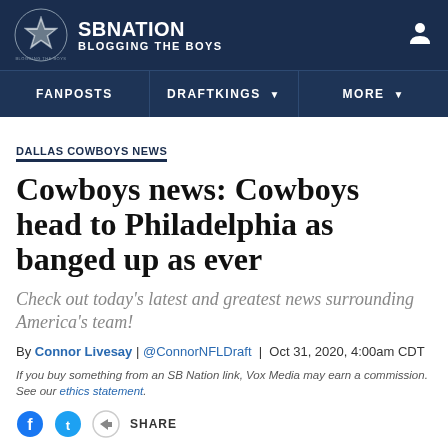SB NATION BLOGGING THE BOYS
DALLAS COWBOYS NEWS
Cowboys news: Cowboys head to Philadelphia as banged up as ever
Check out today's latest and greatest news surrounding America's team!
By Connor Livesay | @ConnorNFLDraft | Oct 31, 2020, 4:00am CDT
If you buy something from an SB Nation link, Vox Media may earn a commission. See our ethics statement.